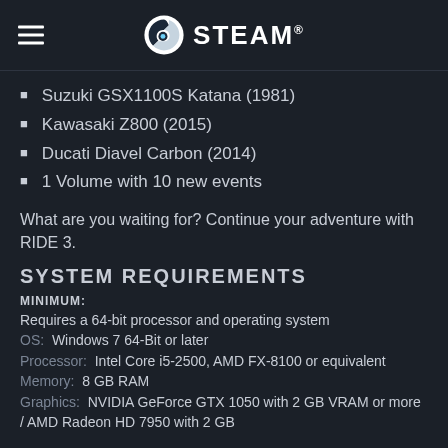STEAM
Suzuki GSX1100S Katana (1981)
Kawasaki Z800 (2015)
Ducati Diavel Carbon (2014)
1 Volume with 10 new events
What are you waiting for? Continue your adventure with RIDE 3.
SYSTEM REQUIREMENTS
MINIMUM:
Requires a 64-bit processor and operating system
OS: Windows 7 64-Bit or later
Processor: Intel Core i5-2500, AMD FX-8100 or equivalent
Memory: 8 GB RAM
Graphics: NVIDIA GeForce GTX 1050 with 2 GB VRAM or more / AMD Radeon HD 7950 with 2 GB